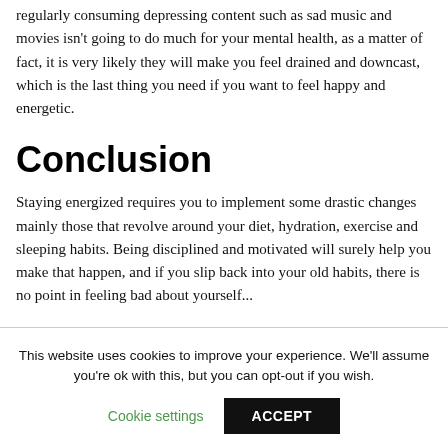regularly consuming depressing content such as sad music and movies isn't going to do much for your mental health, as a matter of fact, it is very likely they will make you feel drained and downcast, which is the last thing you need if you want to feel happy and energetic.
Conclusion
Staying energized requires you to implement some drastic changes mainly those that revolve around your diet, hydration, exercise and sleeping habits. Being disciplined and motivated will surely help you make that happen, and if you slip back into your old habits, there is no point in feeling bad about yourself...
This website uses cookies to improve your experience. We'll assume you're ok with this, but you can opt-out if you wish.
Cookie settings  ACCEPT